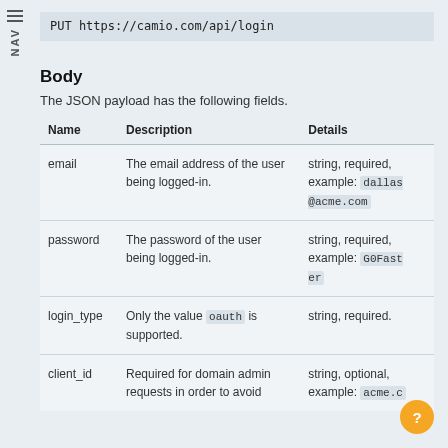PUT https://camio.com/api/login
Body
The JSON payload has the following fields.
| Name | Description | Details |
| --- | --- | --- |
| email | The email address of the user being logged-in. | string, required, example: dallas@acme.com |
| password | The password of the user being logged-in. | string, required, example: G0Faster |
| login_type | Only the value oauth is supported. | string, required. |
| client_id | Required for domain admin requests in order to avoid | string, optional, example: acme.c |